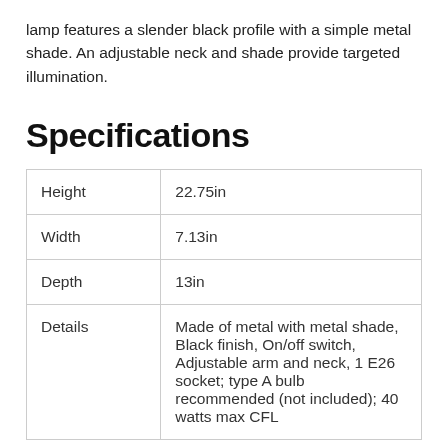lamp features a slender black profile with a simple metal shade. An adjustable neck and shade provide targeted illumination.
Specifications
| Height | 22.75in |
| Width | 7.13in |
| Depth | 13in |
| Details | Made of metal with metal shade, Black finish, On/off switch, Adjustable arm and neck, 1 E26 socket; type A bulb recommended (not included); 40 watts max CFL... |